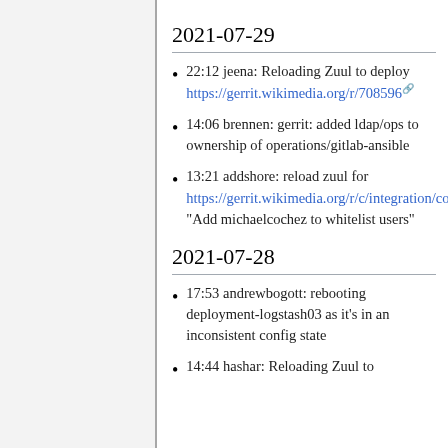2021-07-29
22:12 jeena: Reloading Zuul to deploy https://gerrit.wikimedia.org/r/708596
14:06 brennen: gerrit: added ldap/ops to ownership of operations/gitlab-ansible
13:21 addshore: reload zuul for https://gerrit.wikimedia.org/r/c/integration/config/+/708764 "Add michaelcochez to whitelist users"
2021-07-28
17:53 andrewbogott: rebooting deployment-logstash03 as it's in an inconsistent config state
14:44 hashar: Reloading Zuul to